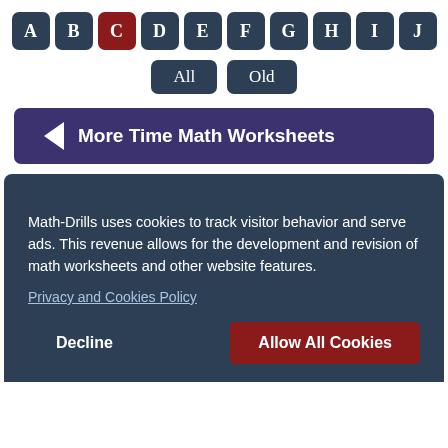[Figure (screenshot): Navigation letter buttons A through J, with C highlighted in red/dark red, and D through J in dark navy blue. All others (A, B) also in navy.]
[Figure (screenshot): Two filter buttons labeled 'All' and 'Old' in dark navy blue with rounded corners.]
[Figure (screenshot): A wide purple/dark violet button with a left arrow icon and the text 'More Time Math Worksheets'.]
Math-Drills uses cookies to track visitor behavior and serve ads. This revenue allows for the development and revision of math worksheets and other website features.
Privacy and Cookies Policy
Decline
Allow All Cookies